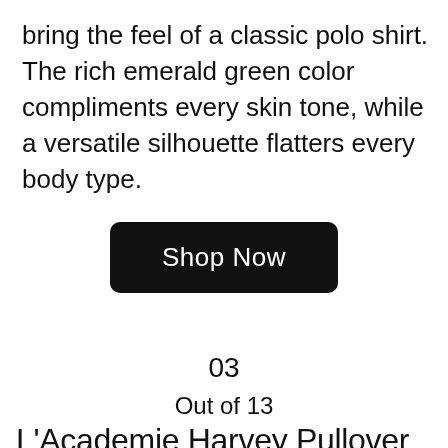bring the feel of a classic polo shirt. The rich emerald green color compliments every skin tone, while a versatile silhouette flatters every body type.
[Figure (other): Black rounded rectangle button with white text reading 'Shop Now']
03
Out of 13
L'Academie Harvey Pullover